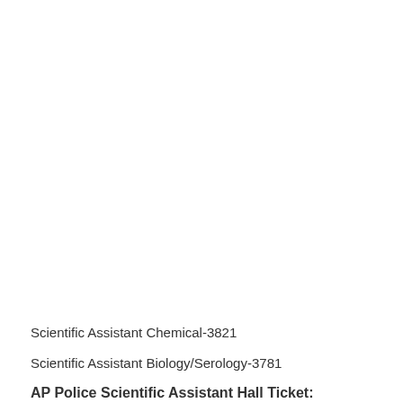Scientific Assistant Chemical-3821
Scientific Assistant Biology/Serology-3781
AP Police Scientific Assistant Hall Ticket: